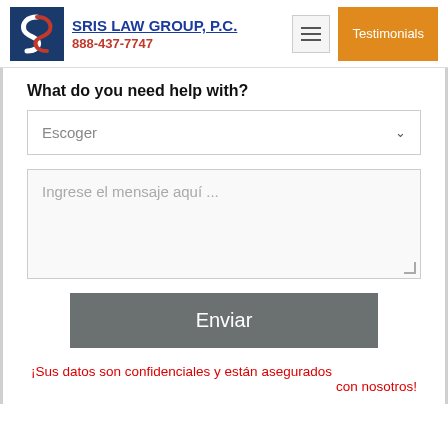[Figure (logo): SRIS Law Group, P.C. logo with stylized S on blue background, firm name in blue underlined text, phone number 888-437-7747 in red, menu icon, and orange Testimonials button]
What do you need help with?
Escoger
Ingrese el mensaje aquí ...
Enviar
¡Sus datos son confidenciales y están asegurados con nosotros!